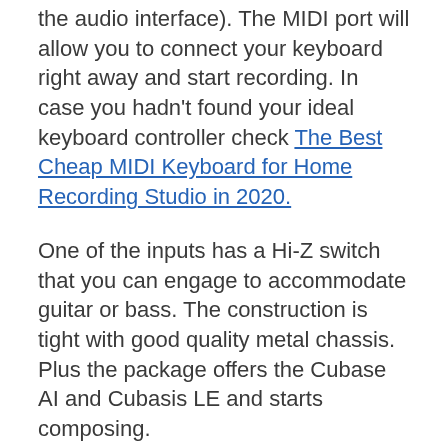the audio interface). The MIDI port will allow you to connect your keyboard right away and start recording. In case you hadn't found your ideal keyboard controller check The Best Cheap MIDI Keyboard for Home Recording Studio in 2020.
One of the inputs has a Hi-Z switch that you can engage to accommodate guitar or bass. The construction is tight with good quality metal chassis. Plus the package offers the Cubase AI and Cubasis LE and starts composing.
Conclusion: It is not top-rated and highly recommended by many users by accident. Constitutes an excellent choice for the first audio interface, it is very affordable, with